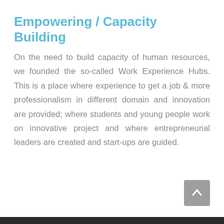Empowering / Capacity Building
On the need to build capacity of human resources, we founded the so-called Work Experience Hubs. This is a place where experience to get a job & more professionalism in different domain and innovation are provided; where students and young people work on innovative project and where entrepreneurial leaders are created and start-ups are guided.